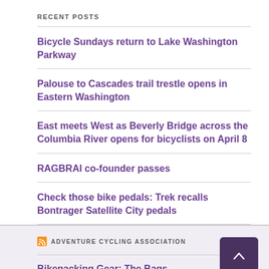RECENT POSTS
Bicycle Sundays return to Lake Washington Parkway
Palouse to Cascades trail trestle opens in Eastern Washington
East meets West as Beverly Bridge across the Columbia River opens for bicyclists on April 8
RAGBRAI co-founder passes
Check those bike pedals: Trek recalls Bontrager Satellite City pedals
ADVENTURE CYCLING ASSOCIATION
Bikepacking Gear: The Bags